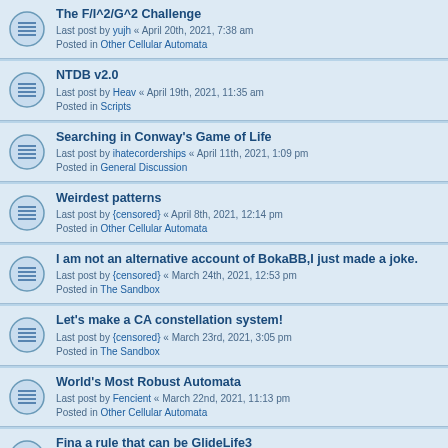The F/I^2/G^2 Challenge
Last post by yujh « April 20th, 2021, 7:38 am
Posted in Other Cellular Automata
NTDB v2.0
Last post by Heav « April 19th, 2021, 11:35 am
Posted in Scripts
Searching in Conway's Game of Life
Last post by ihatecorderships « April 11th, 2021, 1:09 pm
Posted in General Discussion
Weirdest patterns
Last post by {censored} « April 8th, 2021, 12:14 pm
Posted in Other Cellular Automata
I am not an alternative account of BokaBB,I just made a joke.
Last post by {censored} « March 24th, 2021, 12:53 pm
Posted in The Sandbox
Let's make a CA constellation system!
Last post by {censored} « March 23rd, 2021, 3:05 pm
Posted in The Sandbox
World's Most Robust Automata
Last post by Fencient « March 22nd, 2021, 11:13 pm
Posted in Other Cellular Automata
Fina a rule that can be GlideLife3
Last post by hotcrystal0 « March 21st, 2021, 5:22 pm
Posted in Other Cellular Automata